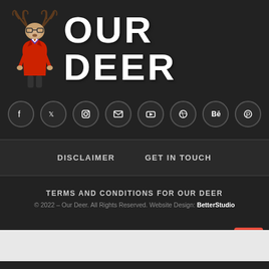[Figure (illustration): Our Deer logo: anthropomorphic deer wearing red jacket and purple shirt with antlers and glasses, alongside bold white text 'OUR DEER']
[Figure (infographic): Row of 8 social media icon circles: Facebook, Twitter, Instagram, Email, YouTube, Dribbble, Behance, Pinterest]
DISCLAIMER    GET IN TOUCH
TERMS AND CONDITIONS FOR OUR DEER
© 2022 – Our Deer. All Rights Reserved. Website Design: BetterStudio